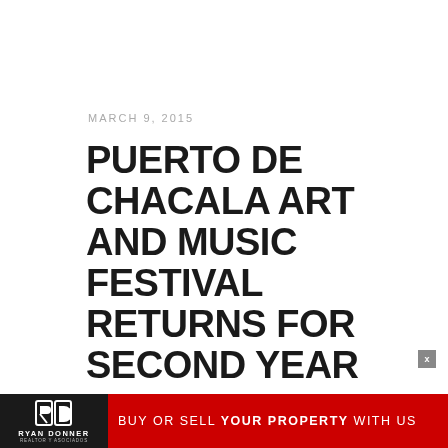MARCH 9, 2015
PUERTO DE CHACALA ART AND MUSIC FESTIVAL RETURNS FOR SECOND YEAR
[Figure (other): Close button X in grey square]
[Figure (other): Ryan Donner Realtor y Asociados advertisement banner: BUY OR SELL YOUR PROPERTY WITH US]